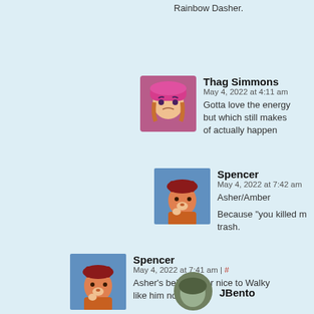Rainbow Dasher.
[Figure (illustration): Anime-style avatar with pink hat and orange hair, looking annoyed]
Thag Simmons
May 4, 2022 at 4:11 am
Gotta love the energy but which still makes of actually happen
[Figure (illustration): Cartoon fox/dog character in orange coat and red hat]
Spencer
May 4, 2022 at 7:42 am
Asher/Amber
Because "you killed m... trash.
[Figure (illustration): Cartoon fox/dog character in orange coat and red hat]
Spencer
May 4, 2022 at 7:41 am | #
Asher's being super nice to Walky like him now???
[Figure (illustration): Round cartoon character avatar partially visible]
JBento